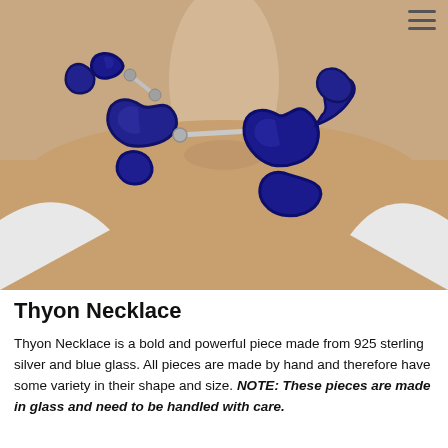[Figure (photo): Close-up photo of a person wearing the Thyon Necklace — a statement jewelry piece composed of irregular blue glass links connected with 925 sterling silver bars, worn around the collarbone area. The background shows the wearer's skin and a white top.]
Thyon Necklace
Thyon Necklace is a bold and powerful piece made from 925 sterling silver and blue glass. All pieces are made by hand and therefore have some variety in their shape and size. NOTE: These pieces are made in glass and need to be handled with care.